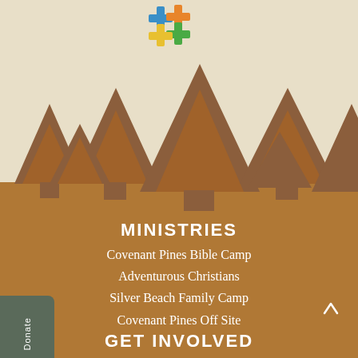[Figure (illustration): Colorful cross/plus logo made of blue, orange, green, yellow puzzle-piece style crosses at the top center of the page above a textured beige background with brown tree silhouettes]
MINISTRIES
Covenant Pines Bible Camp
Adventurous Christians
Silver Beach Family Camp
Covenant Pines Off Site
GET INVOLVED